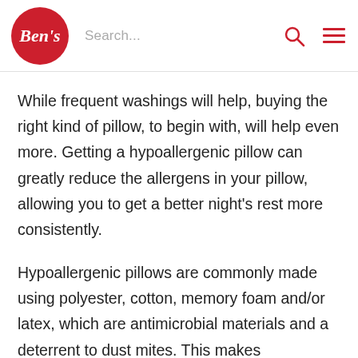Ben's | Search...
While frequent washings will help, buying the right kind of pillow, to begin with, will help even more. Getting a hypoallergenic pillow can greatly reduce the allergens in your pillow, allowing you to get a better night’s rest more consistently.
Hypoallergenic pillows are commonly made using polyester, cotton, memory foam and/or latex, which are antimicrobial materials and a deterrent to dust mites. This makes hypoallergenic pillows a fantastic alternative to pillows stuffed with feathers or another material that’s not hypoallergenic. Even if you don’t